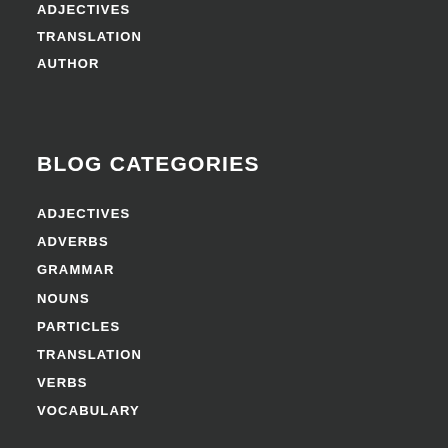ADJECTIVES
TRANSLATION
AUTHOR
BLOG CATEGORIES
ADJECTIVES
ADVERBS
GRAMMAR
NOUNS
PARTICLES
TRANSLATION
VERBS
VOCABULARY